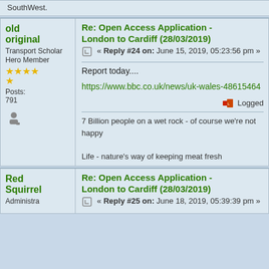SouthWest.
Re: Open Access Application - London to Cardiff (28/03/2019)
« Reply #24 on: June 15, 2019, 05:23:56 pm »
Report today....
https://www.bbc.co.uk/news/uk-wales-48615464
Logged
7 Billion people on a wet rock - of course we're not happy

Life - nature's way of keeping meat fresh
Re: Open Access Application - London to Cardiff (28/03/2019)
« Reply #25 on: June 18, 2019, 05:39:39 pm »